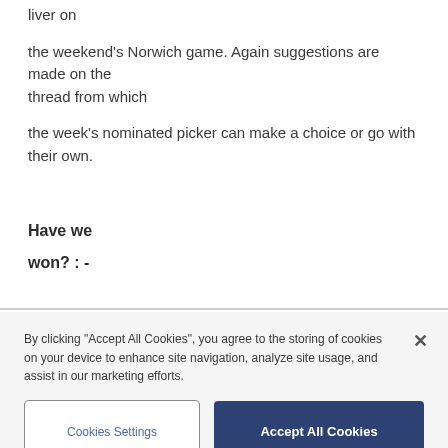liver on the weekend's Norwich game. Again suggestions are made on the thread from which the week's nominated picker can make a choice or go with their own.
Have we
won? : -
So far
By clicking “Accept All Cookies”, you agree to the storing of cookies on your device to enhance site navigation, analyze site usage, and assist in our marketing efforts.
Cookies Settings
Accept All Cookies